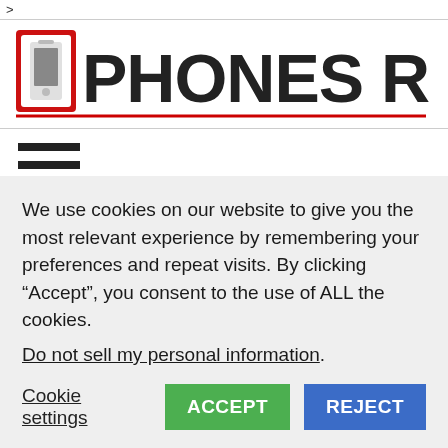>
[Figure (logo): Phones Review logo with red phone icon and bold black text PHONES REVIEW with red underline]
Nokia E71 & E66 gets Free Voice
We use cookies on our website to give you the most relevant experience by remembering your preferences and repeat visits. By clicking “Accept”, you consent to the use of ALL the cookies.
Do not sell my personal information.
Cookie settings ACCEPT REJECT